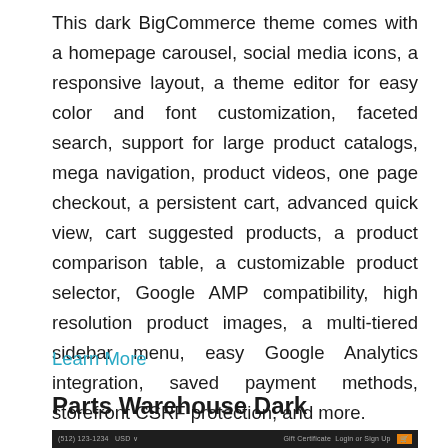This dark BigCommerce theme comes with a homepage carousel, social media icons, a responsive layout, a theme editor for easy color and font customization, faceted search, support for large product catalogs, mega navigation, product videos, one page checkout, a persistent cart, advanced quick view, cart suggested products, a product comparison table, a customizable product selector, Google AMP compatibility, high resolution product images, a multi-tiered sidebar menu, easy Google Analytics integration, saved payment methods, storefront CSRF protection, and more.
Learn More
Parts Warehouse Dark
[Figure (screenshot): Dark theme screenshot showing a navigation bar with phone number (512) 123-1234, USD dropdown, Gift Certificate, Login or Sign Up links, and a cart icon on the right.]